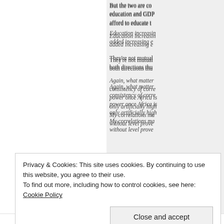But the two are co education and GDP afford to educate t
Education increasin added increasing ed
They're not mutual both directions thu
Again, what matter consistency of corre power once Africa is only artificially high My correlations ma without level prove
Privacy & Cookies: This site uses cookies. By continuing to use this website, you agree to their use. To find out more, including how to control cookies, see here: Cookie Policy
Close and accept